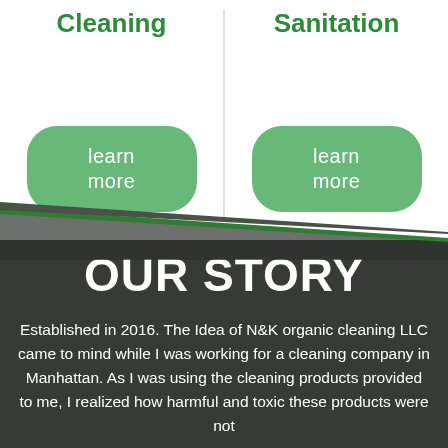Cleaning
Sanitation
learn more
learn more
OUR STORY
Established in 2016. The Idea of N&K organic cleaning LLC came to mind while I was working for a cleaning company in Manhattan. As I was using the cleaning products provided to me, I realized how harmful and toxic these products were not